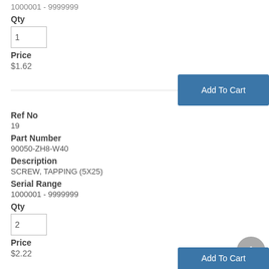1000001 - 9999999
Qty
1
Price
$1.62
Add To Cart
Ref No
19
Part Number
90050-ZH8-W40
Description
SCREW, TAPPING (5X25)
Serial Range
1000001 - 9999999
Qty
2
Price
$2.22